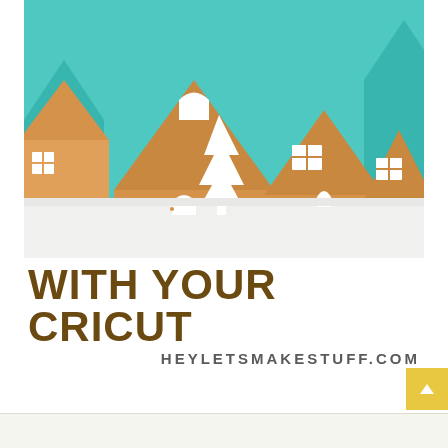[Figure (photo): Photo of wooden block houses decorated with white vinyl cut designs (windows, doors, Christmas tree) on a white shelf, with teal/turquoise background. The blocks are light natural wood color with white Cricut vinyl decorations including a Christmas tree, arched doors, windows, and roof cutouts.]
WITH YOUR CRICUT
HEYLETSMAKESTUFF.COM